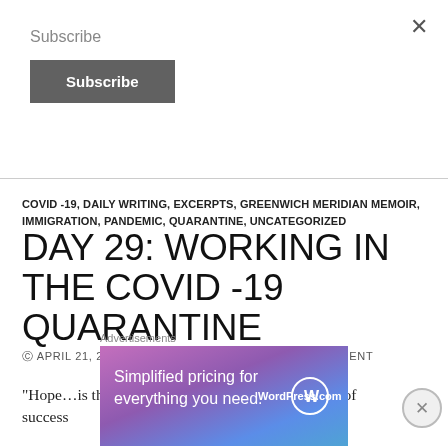Subscribe
Subscribe
COVID -19, DAILY WRITING, EXCERPTS, GREENWICH MERIDIAN MEMOIR, IMMIGRATION, PANDEMIC, QUARANTINE, UNCATEGORIZED
DAY 29: WORKING IN THE COVID -19 QUARANTINE
APRIL 21, 2020   EMMAPALOVA   1 COMMENT
“Hope…is the companion of power and the mother of success
Advertisements
[Figure (screenshot): WordPress.com advertisement banner: 'Simplified pricing for everything you need.' with WordPress.com logo on gradient purple-blue background.]